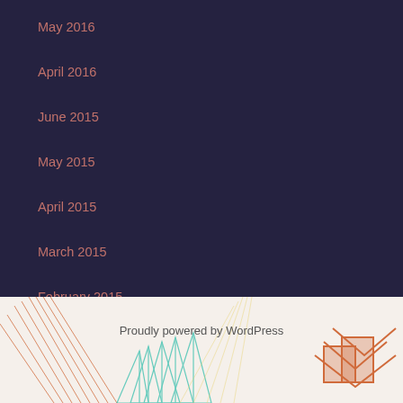May 2016
April 2016
June 2015
May 2015
April 2015
March 2015
February 2015
January 2015
December 2014
Proudly powered by WordPress